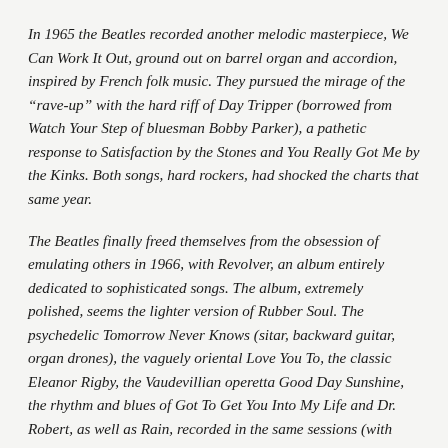In 1965 the Beatles recorded another melodic masterpiece, We Can Work It Out, ground out on barrel organ and accordion, inspired by French folk music. They pursued the mirage of the "rave-up" with the hard riff of Day Tripper (borrowed from Watch Your Step of bluesman Bobby Parker), a pathetic response to Satisfaction by the Stones and You Really Got Me by the Kinks. Both songs, hard rockers, had shocked the charts that same year.
The Beatles finally freed themselves from the obsession of emulating others in 1966, with Revolver, an album entirely dedicated to sophisticated songs. The album, extremely polished, seems the lighter version of Rubber Soul. The psychedelic Tomorrow Never Knows (sitar, backward guitar, organ drones), the vaguely oriental Love You To, the classic Eleanor Rigby, the Vaudevillian operetta Good Day Sunshine, the rhythm and blues of Got To Get You Into My Life and Dr. Robert, as well as Rain, recorded in the same sessions (with backward vocals, inspired by the Byrds' Eight Miles High, that had charted just weeks before), are all mitigated by an ever more languid and romantic